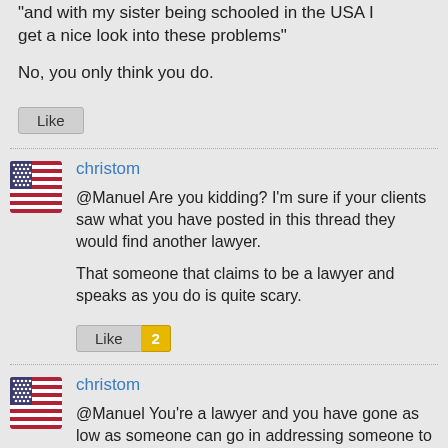and with my sister being schooled in the USA I get a nice look into these problems"
No, you only think you do.
Like
christom
@Manuel Are you kidding? I'm sure if your clients saw what you have posted in this thread they would find another lawyer.

That someone that claims to be a lawyer and speaks as you do is quite scary.
Like 2
christom
@Manuel You're a lawyer and you have gone as low as someone can go in addressing someone to defend your arguments, by questioning their sanity and calling them ...